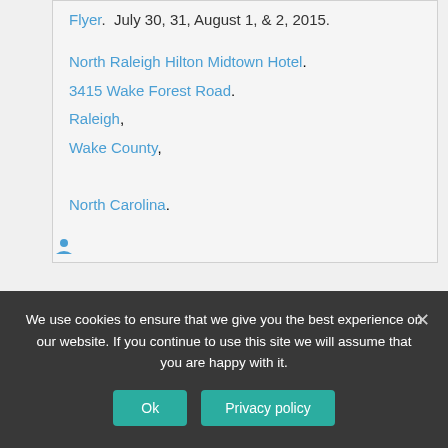Flyer.  July 30, 31, August 1, & 2, 2015.
North Raleigh Hilton Midtown Hotel. 3415 Wake Forest Road. Raleigh, Wake County, North Carolina.
We use cookies to ensure that we give you the best experience on our website. If you continue to use this site we will assume that you are happy with it.